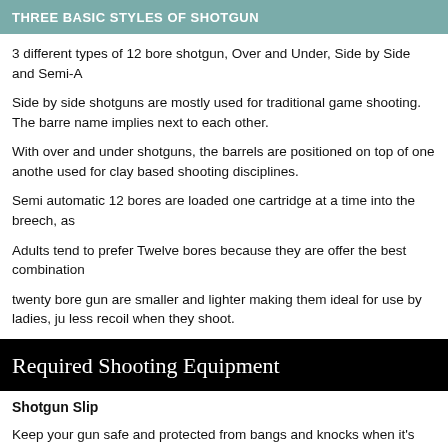THREE BASIC STYLES OF SHOTGUN
3 different types of 12 bore shotgun, Over and Under, Side by Side and Semi-A
Side by side shotguns are mostly used for traditional game shooting. The barre name implies next to each other.
With over and under shotguns, the barrels are positioned on top of one anothe used for clay based shooting disciplines.
Semi automatic 12 bores are loaded one cartridge at a time into the breech, as
Adults tend to prefer Twelve bores because they are offer the best combination
twenty bore gun are smaller and lighter making them ideal for use by ladies, ju less recoil when they shoot.
Required Shooting Equipment
Shotgun Slip
Keep your gun safe and protected from bangs and knocks when it's being trans
Cartridge Bags
Different types of shooting require different shooting equipment, clothing and c